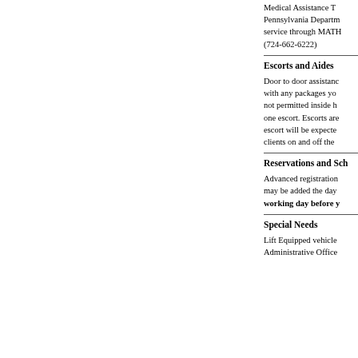Medical Assistance Transportation Pennsylvania Department of service through MATP (724-662-6222)
Escorts and Aides
Door to door assistance with any packages you not permitted inside h one escort. Escorts are escort will be expecte clients on and off the
Reservations and Scheduling
Advanced registration may be added the day working day before y
Special Needs
Lift Equipped vehicle Administrative Office